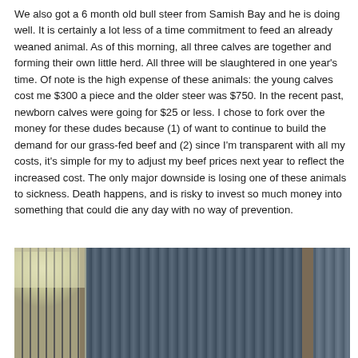We also got a 6 month old bull steer from Samish Bay and he is doing well. It is certainly a lot less of a time commitment to feed an already weaned animal. As of this morning, all three calves are together and forming their own little herd. All three will be slaughtered in one year's time. Of note is the high expense of these animals: the young calves cost me $300 a piece and the older steer was $750. In the recent past, newborn calves were going for $25 or less. I chose to fork over the money for these dudes because (1) of want to continue to build the demand for our grass-fed beef and (2) since I'm transparent with all my costs, it's simple for my to adjust my beef prices next year to reflect the increased cost. The only major downside is losing one of these animals to sickness. Death happens, and is risky to invest so much money into something that could die any day with no way of prevention.
[Figure (photo): Interior of a barn showing corrugated metal walls/panels in dark blue-grey color, wooden posts, and a window letting in light on the left side.]